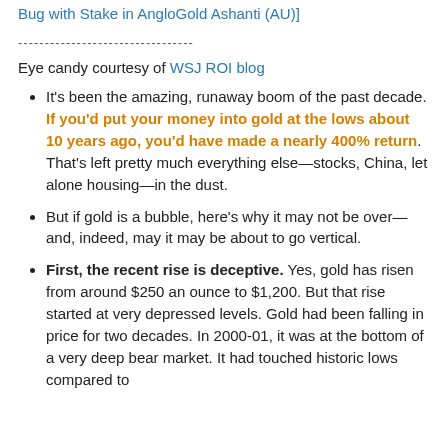Bug with Stake in AngloGold Ashanti (AU)]
--------------------------------
Eye candy courtesy of WSJ ROI blog
It's been the amazing, runaway boom of the past decade. If you'd put your money into gold at the lows about 10 years ago, you'd have made a nearly 400% return. That's left pretty much everything else—stocks, China, let alone housing—in the dust.
But if gold is a bubble, here's why it may not be over—and, indeed, may it may be about to go vertical.
First, the recent rise is deceptive. Yes, gold has risen from around $250 an ounce to $1,200. But that rise started at very depressed levels. Gold had been falling in price for two decades. In 2000-01, it was at the bottom of a very deep bear market. It had touched historic lows compared to